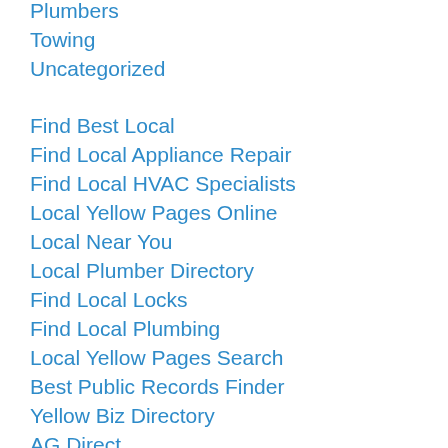Plumbers
Towing
Uncategorized
Find Best Local
Find Local Appliance Repair
Find Local HVAC Specialists
Local Yellow Pages Online
Local Near You
Local Plumber Directory
Find Local Locks
Find Local Plumbing
Local Yellow Pages Search
Best Public Records Finder
Yellow Biz Directory
AG Direct...